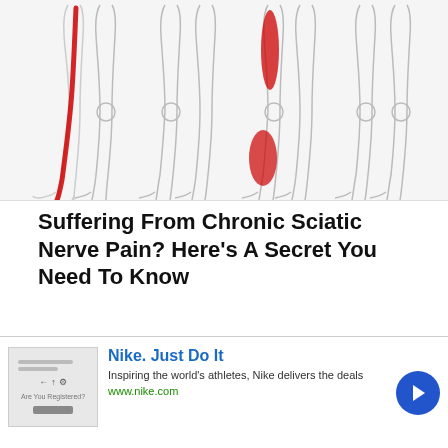[Figure (illustration): Medical illustration showing four pairs of legs side view with red highlighted areas indicating sciatic nerve pain pathways along back of thigh, calf, and knee area]
Suffering From Chronic Sciatic Nerve Pain? Here's A Secret You Need To Know
🔥 75,251
[Figure (photo): Partial photo of a person, appears to be a medical or lifestyle context]
Nike. Just Do It
Inspiring the world's athletes, Nike delivers the deals
www.nike.com